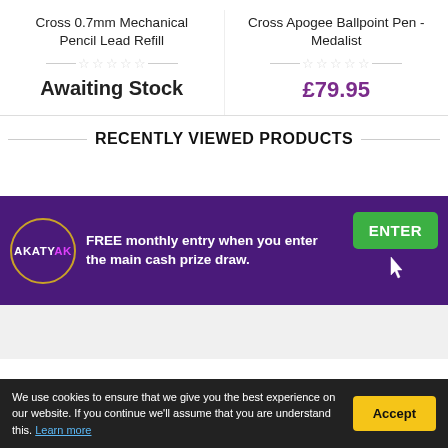Cross 0.7mm Mechanical Pencil Lead Refill
Cross Apogee Ballpoint Pen - Medalist
Awaiting Stock
£79.95
RECENTLY VIEWED PRODUCTS
[Figure (infographic): AKATYAK logo and promotional banner: FREE monthly entry when you enter the main cash prize draw. ENTER button with cursor icon.]
We use cookies to ensure that we give you the best experience on our website. If you continue we'll assume that you are understand this. Learn more
Accept